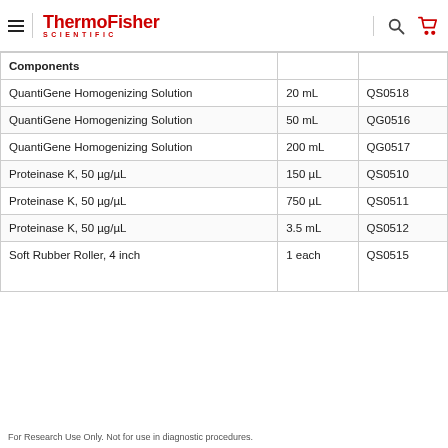ThermoFisher SCIENTIFIC
| Components |  |  |
| --- | --- | --- |
| QuantiGene Homogenizing Solution | 20 mL | QS0518 |
| QuantiGene Homogenizing Solution | 50 mL | QG0516 |
| QuantiGene Homogenizing Solution | 200 mL | QG0517 |
| Proteinase K, 50 µg/µL | 150 µL | QS0510 |
| Proteinase K, 50 µg/µL | 750 µL | QS0511 |
| Proteinase K, 50 µg/µL | 3.5 mL | QS0512 |
| Soft Rubber Roller, 4 inch | 1 each | QS0515 |
For Research Use Only. Not for use in diagnostic procedures.